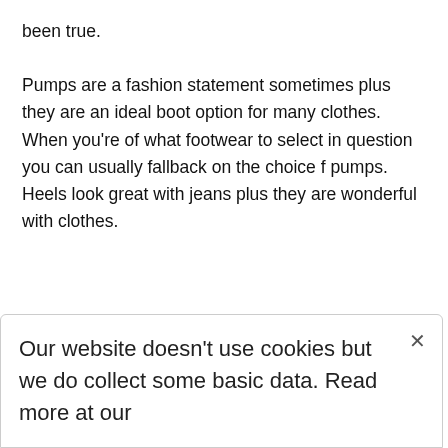been true.

Pumps are a fashion statement sometimes plus they are an ideal boot option for many clothes. When you're of what footwear to select in question you can usually fallback on the choice f pumps. Heels look great with jeans plus they are wonderful with clothes.
There's something special of a girl wearing pumps and pants and
Our website doesn't use cookies but we do collect some basic data. Read more at our